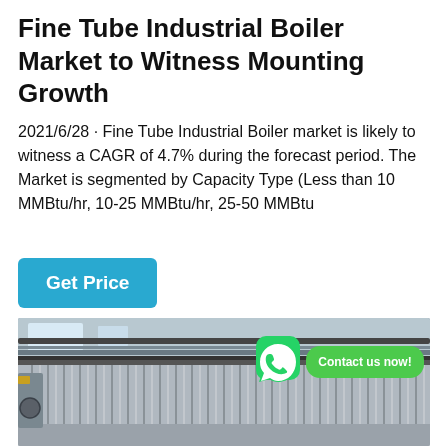Fine Tube Industrial Boiler Market to Witness Mounting Growth
2021/6/28 · Fine Tube Industrial Boiler market is likely to witness a CAGR of 4.7% during the forecast period. The Market is segmented by Capacity Type (Less than 10 MMBtu/hr, 10-25 MMBtu/hr, 25-50 MMBtu
[Figure (photo): Industrial boiler equipment in a manufacturing facility, showing corrugated metal panels and overhead piping, with a WhatsApp icon and 'Contact us now!' bubble overlay]